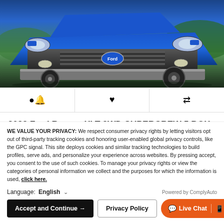[Figure (photo): Blue 2022 Ford Ranger XLT truck front view photographed outdoors in grass/green setting]
🔔  ♥  ⇄
2022 Ford Ranger XLT 2WD SUPERCREW 5 BOX
Stock: D42514 VIN: 1FTER4EH8NLD42514
Dealer Fee: $799
WE VALUE YOUR PRIVACY: We respect consumer privacy rights by letting visitors opt out of third-party tracking cookies and honoring user-enabled global privacy controls, like the GPC signal. This site deploys cookies and similar tracking technologies to build profiles, serve ads, and personalize your experience across websites. By pressing accept, you consent to the use of such cookies. To manage your privacy rights or view the categories of personal information we collect and the purposes for which the information is used, click here.
Language: English ∨  Powered by ComplyAuto
Accept and Continue →   Privacy Policy   Live Chat   📱   📞